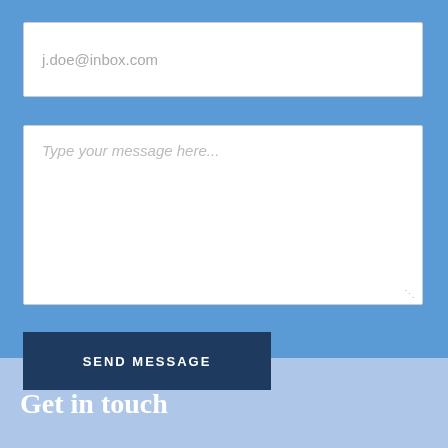j.doe@inbox.com
Type your message here...
SEND MESSAGE
Get in touch